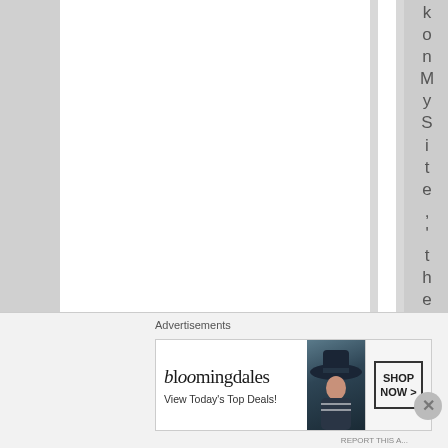[Figure (screenshot): Website screenshot showing vertical column layout with a highlighted column containing vertically stacked letters spelling 'k on MySite, then clic' reading top to bottom. Multiple white and light gray divider columns visible.]
Advertisements
[Figure (other): Bloomingdale's advertisement banner with text 'bloomingdales View Today's Top Deals!' and 'SHOP NOW >' button, featuring a woman in a wide-brim navy hat.]